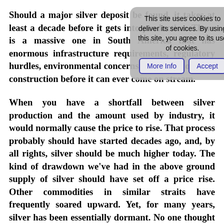Should a major silver deposit be found, it takes at least a decade before it gets into production. There is a massive one in South America that has enormous infrastructure requirements, regulatory hurdles, environmental concerns, and years of mine construction before it can ever come on stream.

When you have a shortfall between silver production and the amount used by industry, it would normally cause the price to rise. That process probably should have started decades ago, and, by all rights, silver should be much higher today. The kind of drawdown we've had in the above ground supply of silver should have set off a price rise. Other commodities in similar straits have frequently soared upward. Yet, for many years, silver has been essentially dormant. No one thought much about this boring price predicament that
[Figure (other): Cookie consent overlay with text 'This site uses cookies to deliver its services. By using this site, you agree to its use of cookies.' and two buttons: 'More Info' and 'Accept']